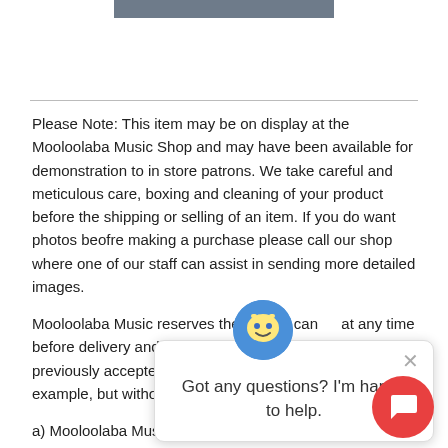[Figure (other): Dark gray horizontal bar at top center of page]
Please Note: This item may be on display at the Mooloolaba Music Shop and may have been available for demonstration to in store patrons. We take careful and meticulous care, boxing and cleaning of your product before the shipping or selling of an item. If you do want photos beofre making a purchase please call our shop where one of our staff can assist in sending more detailed images.
Mooloolaba Music reserves the right to cancel at any time before delivery and for wh previously accepted. Moo example, but without limit
a) Mooloolaba Music's sup that they have previously promised to supply
(b) an event beyond Mooloolaba Music's control, such as storm, fire, flood, earthquake, terrorism, power failure, w strike or failure of computer systems, means that Moolo Music is unable to supply the Goods within a reasonable time
[Figure (other): Chat popup overlay with avatar icon and text 'Got any questions? I'm happy to help.' with close button and red chat button]